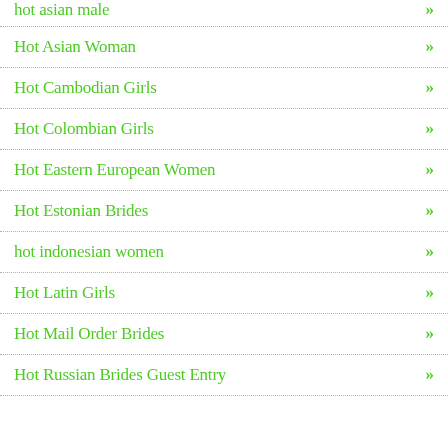hot asian male »
Hot Asian Woman »
Hot Cambodian Girls »
Hot Colombian Girls »
Hot Eastern European Women »
Hot Estonian Brides »
hot indonesian women »
Hot Latin Girls »
Hot Mail Order Brides »
Hot Russian Brides Guest Entry »